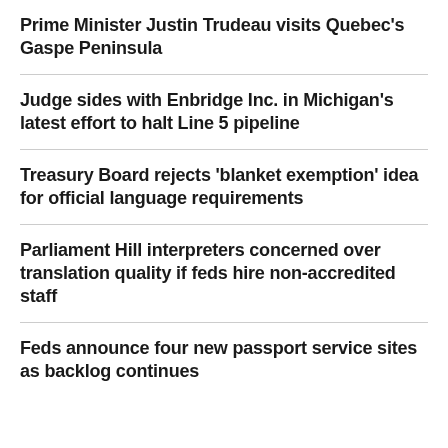Prime Minister Justin Trudeau visits Quebec's Gaspe Peninsula
Judge sides with Enbridge Inc. in Michigan's latest effort to halt Line 5 pipeline
Treasury Board rejects 'blanket exemption' idea for official language requirements
Parliament Hill interpreters concerned over translation quality if feds hire non-accredited staff
Feds announce four new passport service sites as backlog continues